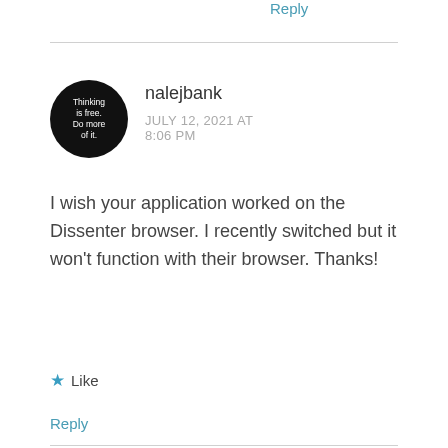Reply
[Figure (illustration): Circular black avatar with white text: 'Thinking is free. Do more of it.']
nalejbank
JULY 12, 2021 AT 8:06 PM
I wish your application worked on the Dissenter browser. I recently switched but it won't function with their browser. Thanks!
★ Like
Reply